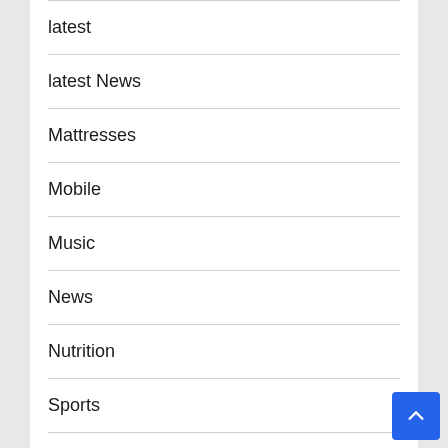latest
latest News
Mattresses
Mobile
Music
News
Nutrition
Sports